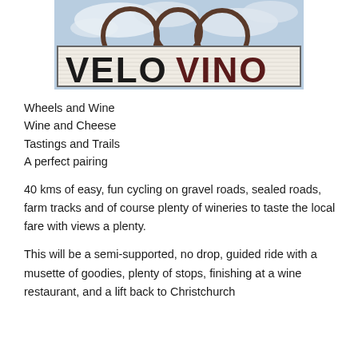[Figure (photo): Photo of a sign reading VELOVINO in large bold black and dark red letters on a white horizontal panel, with circular metal frame elements above against a blue sky with clouds.]
Wheels and Wine
Wine and Cheese
Tastings and Trails
A perfect pairing
40 kms of easy, fun cycling on gravel roads, sealed roads, farm tracks and of course plenty of wineries to taste the local fare with views a plenty.
This will be a semi-supported, no drop, guided ride with a musette of goodies, plenty of stops, finishing at a wine restaurant, and a lift back to Christchurch